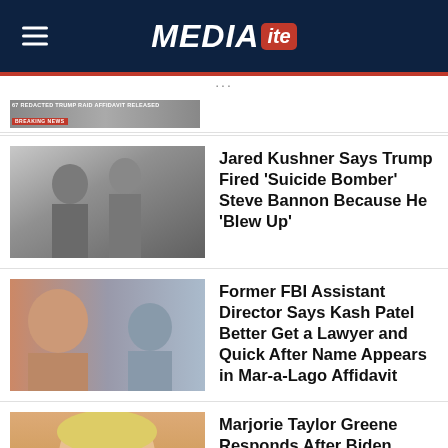MEDIAITE
[Figure (screenshot): Breaking news banner: partially redacted Trump raid affidavit released]
Jared Kushner Says Trump Fired 'Suicide Bomber' Steve Bannon Because He 'Blew Up'
Former FBI Assistant Director Says Kash Patel Better Get a Lawyer and Quick After Name Appears in Mar-a-Lago Affidavit
Marjorie Taylor Greene Responds After Biden White House Calls Out Her Forgiven PPP Loan: 'Go To Hell Joe'